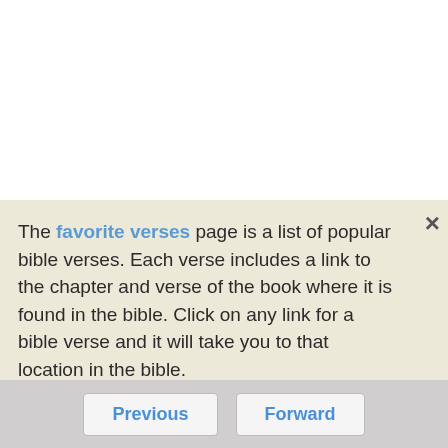The favorite verses page is a list of popular bible verses. Each verse includes a link to the chapter and verse of the book where it is found in the bible. Click on any link for a bible verse and it will take you to that location in the bible.
Stories
The bible contains great stories. Visit the bible stories page for links to some of the best known and most significant stories and passages in the bible.